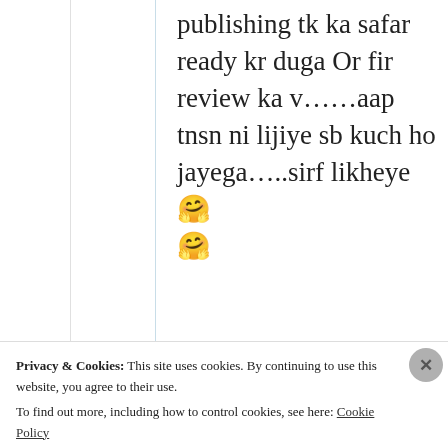publishing tk ka safar ready kr duga Or fir review ka v……aap tnsn ni lijiye sb kuch ho jayega…..sirf likheye🤗🤗
★ Liked by 1 person
[Figure (screenshot): Partial embedded blog post card with avatar at bottom, light green border]
Privacy & Cookies: This site uses cookies. By continuing to use this website, you agree to their use. To find out more, including how to control cookies, see here: Cookie Policy
Close and accept